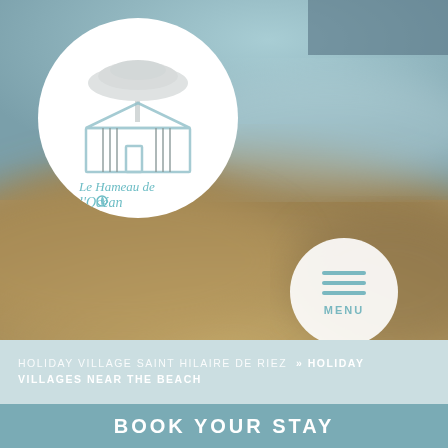[Figure (logo): Le Hameau de l'Océan logo — circular white badge with a stylized house/building outline, vertical lines suggesting a fence/building facade, and an umbrella pine tree silhouette above. Teal/cyan text reads 'Le Hameau de l'Océan'.]
[Figure (photo): Blurred outdoor background photo showing a beach/coastal scene with sandy ground and a hazy blue sky and sea in the distance. Muted earth tones and blue-grey tones.]
[Figure (other): Circular white menu button with three horizontal teal lines (hamburger icon) and the text MENU below in teal capital letters with letter-spacing.]
HOLIDAY VILLAGE SAINT HILAIRE DE RIEZ » HOLIDAY VILLAGES NEAR THE BEACH
BOOK YOUR STAY